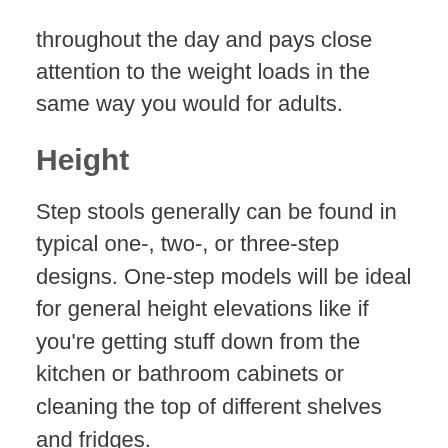throughout the day and pays close attention to the weight loads in the same way you would for adults.
Height
Step stools generally can be found in typical one-, two-, or three-step designs. One-step models will be ideal for general height elevations like if you're getting stuff down from the kitchen or bathroom cabinets or cleaning the top of different shelves and fridges.